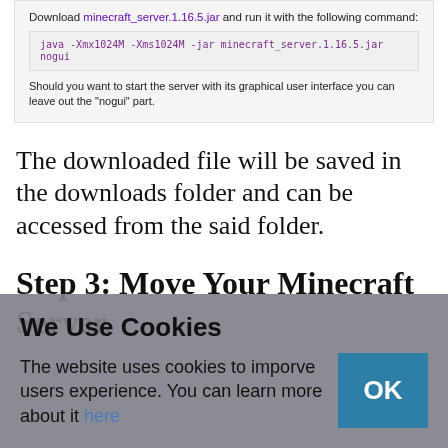Download minecraft_server.1.16.5.jar and run it with the following command:
java -Xmx1024M -Xms1024M -jar minecraft_server.1.16.5.jar nogui
Should you want to start the server with its graphical user interface you can leave out the "nogui" part.
The downloaded file will be saved in the downloads folder and can be accessed from the said folder.
Step 3: Move Your Minecraft Server.
We Use Cookies
The website uses cookies to imporve users experience. You can learn more about it here